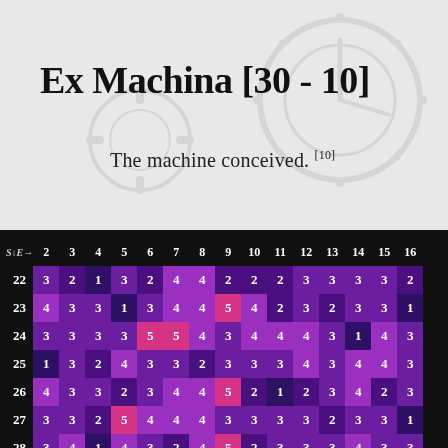Ex Machina [30 - 10]
The machine conceived. [10]
| S↓E→ | 2 | 3 | 4 | 5 | 6 | 7 | 8 | 9 | 10 | 11 | 12 | 13 | 14 | 15 | 16 |
| --- | --- | --- | --- | --- | --- | --- | --- | --- | --- | --- | --- | --- | --- | --- | --- |
| 22 | 3 | 2 | 1 | 3 | 2 | 4 | 4 | 2 | 2 | 2 | 3 | 3 | 3 | 3 | 2 |
| 23 | 4 | 3 | 3 | 1 | 3 | 4 | 4 | 5 | 4 | 2 | 3 | 2 | 3 | 3 | 1 |
| 24 | 3 | 3 | 3 | 3 | 5 | 5 | 4 | 3 | 4 | 4 | 4 | 3 | 1 | 4 | 3 |
| 25 | 1 | 3 | 2 | 4 | 3 | 3 | 2 | 3 | 3 | 3 | 4 | 3 | 4 | 4 | 3 |
| 26 | 4 | 3 | 3 | 2 | 3 | 4 | 4 | 5 | 2 | 1 | 2 | 3 | 4 | 2 | 3 |
| 27 | 3 | 3 | 2 | 5 | 4 | 4 | 4 | 3 | 3 | 3 | 3 | 2 | 3 | 3 | 1 |
| 28 | 3 | 4 | 1 | 4 | 3 | 2 | 4 | 5 | 2 | 3 | 3 | 3 | 4 | 3 | 3 |